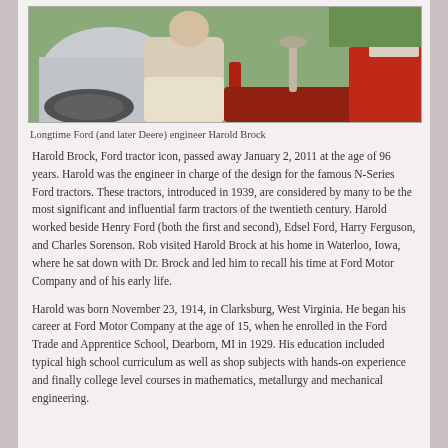[Figure (photo): Man sitting on or near a tractor, wearing light-colored clothing. The tractor appears to be a Ford N-Series with red and gray coloring.]
Longtime Ford (and later Deere) engineer Harold Brock
Harold Brock, Ford tractor icon, passed away January 2, 2011 at the age of 96 years. Harold was the engineer in charge of the design for the famous N-Series Ford tractors. These tractors, introduced in 1939, are considered by many to be the most significant and influential farm tractors of the twentieth century. Harold worked beside Henry Ford (both the first and second), Edsel Ford, Harry Ferguson, and Charles Sorenson. Rob visited Harold Brock at his home in Waterloo, Iowa, where he sat down with Dr. Brock and led him to recall his time at Ford Motor Company and of his early life.
Harold was born November 23, 1914, in Clarksburg, West Virginia. He began his career at Ford Motor Company at the age of 15, when he enrolled in the Ford Trade and Apprentice School, Dearborn, MI in 1929. His education included typical high school curriculum as well as shop subjects with hands-on experience and finally college level courses in mathematics, metallurgy and mechanical engineering.